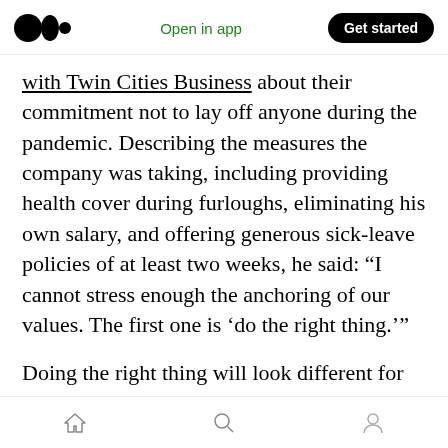Medium logo | Open in app | Get started
with Twin Cities Business about their commitment not to lay off anyone during the pandemic. Describing the measures the company was taking, including providing health cover during furloughs, eliminating his own salary, and offering generous sick-leave policies of at least two weeks, he said: “I cannot stress enough the anchoring of our values. The first one is ‘do the right thing.’”
Doing the right thing will look different for every company. Airbnb couldn’t avoid layoffs, letting a quarter of its employees go in early May as the
Home | Search | Profile